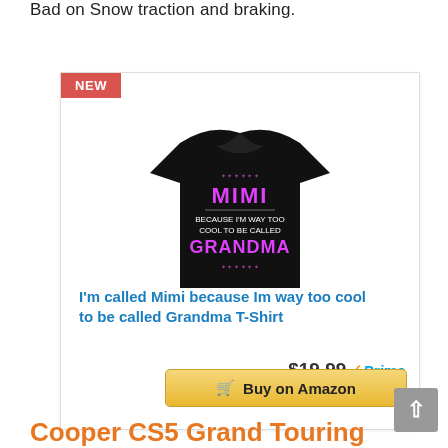Bad on Snow traction and braking.
[Figure (photo): Product card showing a black t-shirt with text 'MIMI BECAUSE I'M WAY TOO COOL TO BE CALLED GRANDMA' in pink and white letters, with a NEW badge in red at top left]
I'm called Mimi because Im way too cool to be called Grandma T-Shirt
$19.99 Prime
Buy on Amazon
Cooper CS5 Grand Touring